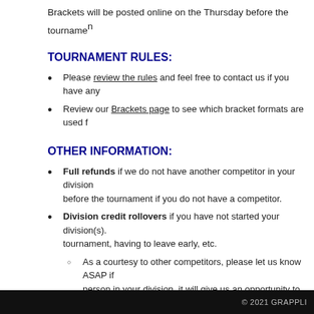Brackets will be posted online on the Thursday before the tournament
TOURNAMENT RULES:
Please review the rules and feel free to contact us if you have any
Review our Brackets page to see which bracket formats are used f
OTHER INFORMATION:
Full refunds if we do not have another competitor in your division before the tournament if you do not have a competitor.
Division credit rollovers if you have not started your division(s). tournament, having to leave early, etc.
As a courtesy to other competitors, please let us know ASAP if person in your division, it will give us an opportunity to contac
NEW! Full refunds at anytime for military personnel who are put your orders (within 6 months after the tournament) and we will p
© 2021 GRAPPLI